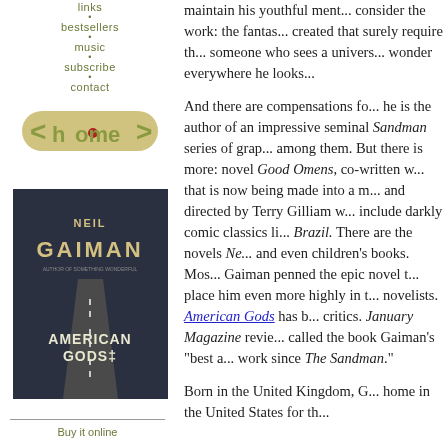links
bestsellers
music
subscribe
contact
[Figure (logo): Home logo in olive/tan color with angled brackets and a red circle bullet]
[Figure (photo): Book cover of American Gods by Neil Gaiman]
Buy it online
maintain his youthful ment... consider the work: the fantas... created that surely require th... someone who sees a univers... wonder everywhere he looks...
And there are compensations fo... he is the author of an impressive seminal Sandman series of grap... among them. But there is more: novel Good Omens, co-written w... that is now being made into a m... and directed by Terry Gilliam w... include darkly comic classics li... Brazil. There are the novels Ne... and even children's books. Mos... Gaiman penned the epic novel t... place him even more highly in t... novelists. American Gods has b... critics. January Magazine revie... called the book Gaiman's "best a... work since The Sandman."
Born in the United Kingdom, G... home in the United States for th...